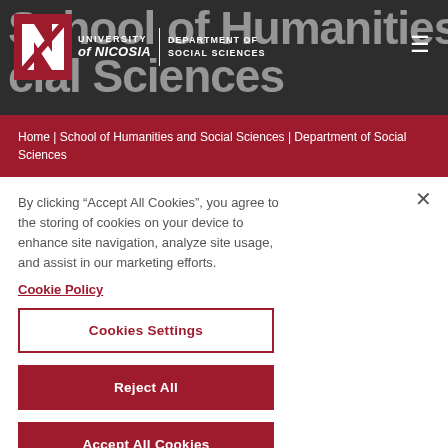[Figure (screenshot): University of Nicosia header banner with logo and Department of Social Sciences title. Dark background with large white text 'School of Humanities and Social Sciences' partially visible.]
School of Humanities and Social Sciences | UNIVERSITY of NICOSIA | DEPARTMENT OF SOCIAL SCIENCES
Home | School of Humanities and Social Sciences | Department of Social Sciences
By clicking “Accept All Cookies”, you agree to the storing of cookies on your device to enhance site navigation, analyze site usage, and assist in our marketing efforts.
Cookie Policy
Cookies Settings
Reject All
Accept All Cookies